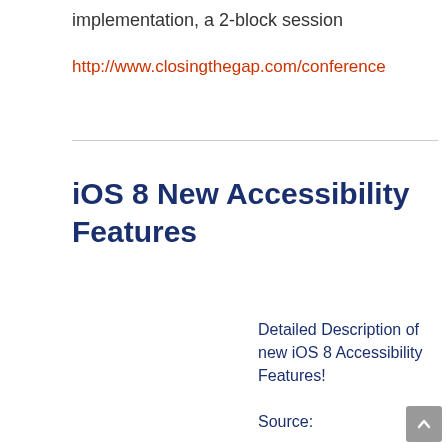implementation, a 2-block session
http://www.closingthegap.com/conference
iOS 8 New Accessibility Features
Detailed Description of new iOS 8 Accessibility Features!
Source: